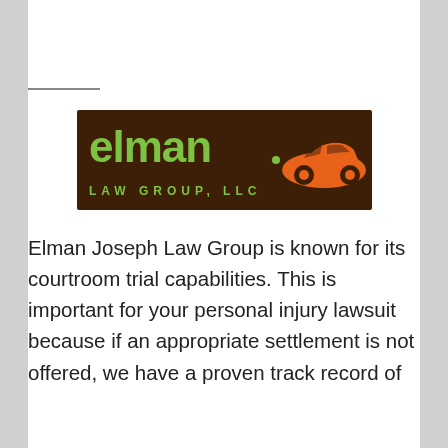[Figure (logo): Elman Law Group LLC logo — dark brown background with green text 'elman' and orange sports car silhouette, subtitle 'LAW GROUP, LLC']
Elman Joseph Law Group is known for its courtroom trial capabilities. This is important for your personal injury lawsuit because if an appropriate settlement is not offered, we have a proven track record of
Winning notable cases and getting the most money for its personal injury clients...the Elman Joseph Law Group.... More About The Elman Joseph Law Group And Our Results...
Joseph Law Group litigate cases.